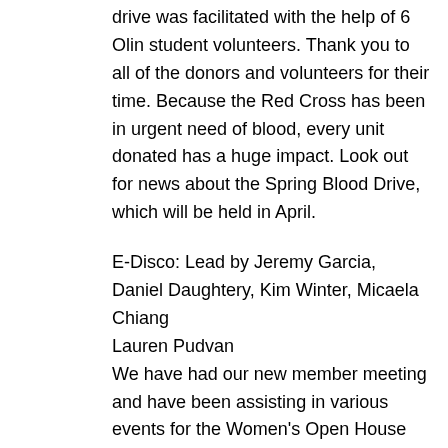drive was facilitated with the help of 6 Olin student volunteers. Thank you to all of the donors and volunteers for their time. Because the Red Cross has been in urgent need of blood, every unit donated has a huge impact. Look out for news about the Spring Blood Drive, which will be held in April.
E-Disco: Lead by Jeremy Garcia, Daniel Daughtery, Kim Winter, Micaela Chiang
Lauren Pudvan
We have had our new member meeting and have been assisting in various events for the Women's Open House and Family Weekend at Olin. We also assisted in teaching a group of low income students at Dassault Systemes.
Big Brother Big Sister College Campus Program:
Big Brothers Big Sisters finalized all new Matches this